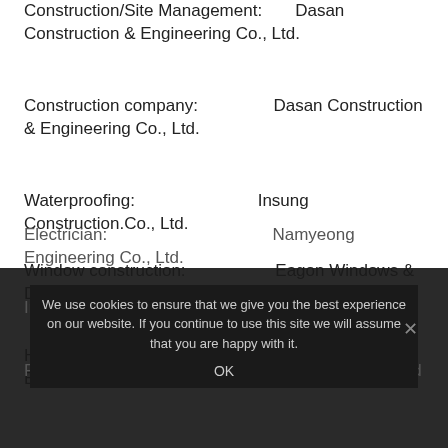Construction/Site Management:    Dasan Construction & Engineering Co., Ltd.
Construction company:                Dasan Construction & Engineering Co., Ltd.
Waterproofing:                              Insung Construction.Co., Ltd.
Window construction:                    Eagon Windows & Doors Co., Ltd.
Heating, plumbing:                       Songhyun Engineering Co., Ltd.
Electrician:                                    Namyeong Engineering Co., Ltd.
Insulation:                                    LG HAUSYS Ltd.
Plasterer, painter:                         Kukbo DesignCo., Ltd
We use cookies to ensure that we give you the best experience on our website. If you continue to use this site we will assume that you are happy with it.